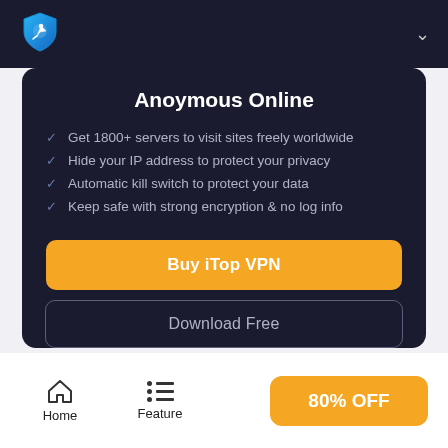[Figure (logo): iTop VPN shield logo with rocket icon in blue gradient]
Anoymous Online
Get 1800+ servers to visit sites freely worldwide
Hide your IP address to protect your privacy
Automatic kill switch to protect your data
Keep safe with strong encryption & no log info
Buy iTop VPN
Download Free
Home
Feature
80% OFF